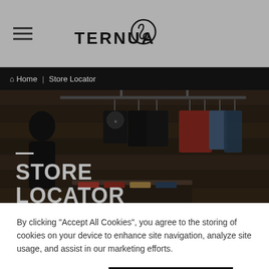TERNUA
Home | Store Locator
[Figure (photo): Store interior showing hanging clothing items — dark t-shirts and colorful garments on racks against wooden backdrop]
STORE LOCATOR
You can come to one of our official stores if you are
By clicking "Accept All Cookies", you agree to the storing of cookies on your device to enhance site navigation, analyze site usage, and assist in our marketing efforts.
Cookies Settings
Accept All Cookies